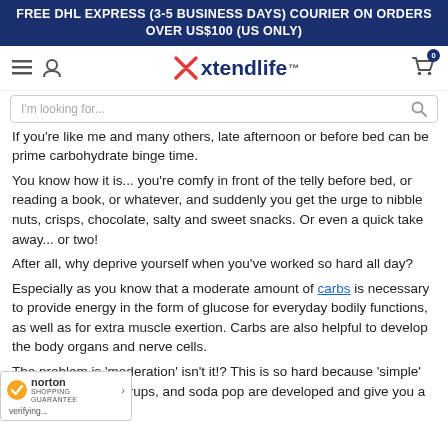FREE DHL EXPRESS (3-5 BUSINESS DAYS) COURIER ON ORDERS OVER US$100 (US ONLY)
[Figure (screenshot): Xtendlife website navigation bar with hamburger menu, user icon, Xtendlife logo, and cart icon with badge showing 0]
I'm looking for...
If you're like me and many others, late afternoon or before bed can be prime carbohydrate binge time.
You know how it is... you're comfy in front of the telly before bed, or reading a book, or whatever, and suddenly you get the urge to nibble nuts, crisps, chocolate, salty and sweet snacks. Or even a quick take away... or two!
After all, why deprive yourself when you've worked so hard all day?
Especially as you know that a moderate amount of carbs is necessary to provide energy in the form of glucose for everyday bodily functions, as well as for extra muscle exertion. Carbs are also helpful to develop the body organs and nerve cells.
The problem is 'moderation' isn't it!? This is so hard because 'simple' carbs like candy, syrups, and soda pop are developed and give you a temporary 'high'.
[Figure (logo): Norton Shopping Guarantee badge with checkmark and verifying text]